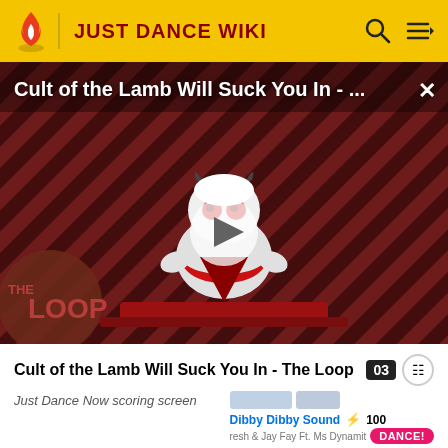JUST DANCE WIKI
[Figure (screenshot): Video thumbnail for 'Cult of the Lamb Will Suck You In - The Loop' showing a cartoon lamb character on a striped red/dark background with THE LOOP text, a play button overlay, and a close X button in top-right.]
Cult of the Lamb Will Suck You In - The Loop
Just Dance Now scoring screen
[Figure (screenshot): Just Dance Now app interface showing Dibby Dibby Sound song by Fresh & Jay Fay Ft. Ms Dynamit with 100 coins and a DANCE! button, plus a Play with online challengers option.]